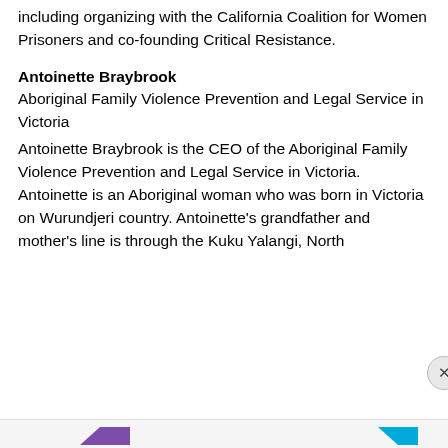including organizing with the California Coalition for Women Prisoners and co-founding Critical Resistance.
Antoinette Braybrook
Aboriginal Family Violence Prevention and Legal Service in Victoria
Antoinette Braybrook is the CEO of the Aboriginal Family Violence Prevention and Legal Service in Victoria. Antoinette is an Aboriginal woman who was born in Victoria on Wurundjeri country. Antoinette's grandfather and mother's line is through the Kuku Yalangi, North
Privacy & Cookies: This site uses cookies. By continuing to use this website, you agree to their use.
To find out more, including how to control cookies, see here: Cookie Policy